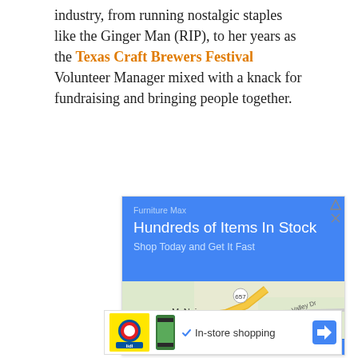industry, from running nostalgic staples like the Ginger Man (RIP), to her years as the Texas Craft Brewers Festival Volunteer Manager mixed with a knack for fundraising and bringing people together.
[Figure (screenshot): Google Maps advertisement for Furniture Max showing a blue header with 'Hundreds of Items In Stock' and 'Shop Today and Get It Fast', a map view showing McNair area with a location pin, and buttons for Store info and Directions. Below is a second ad with Lidl logo and 'In-store shopping' text.]